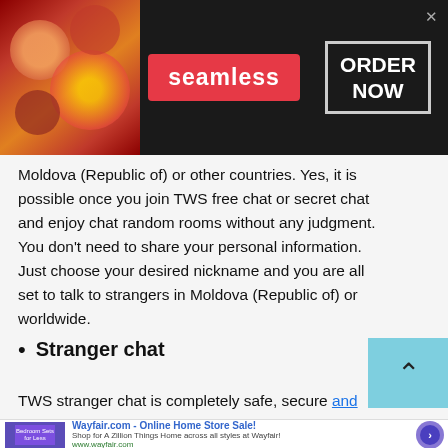[Figure (screenshot): Seamless food delivery advertisement banner with pizza image on left, red Seamless logo in center, and ORDER NOW button on right with close X button]
Moldova (Republic of) or other countries. Yes, it is possible once you join TWS free chat or secret chat and enjoy chat random rooms without any judgment. You don't need to share your personal information. Just choose your desired nickname and you are all set to talk to strangers in Moldova (Republic of) or worldwide.
Stranger chat
TWS stranger chat is completely safe, secure and
[Figure (screenshot): Wayfair.com online home store sale advertisement banner at the bottom of the page]